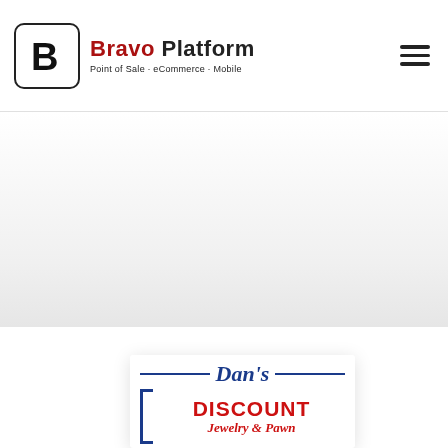[Figure (logo): Bravo Platform logo: black B icon in rounded square, text 'Bravo Platform' with 'Bravo' in dark red, tagline 'Point of Sale · eCommerce · Mobile']
[Figure (other): Hero/banner area — large light gradient band, mostly empty white/light gray]
[Figure (logo): Dan's Discount Jewelry & Pawn logo card, partially visible at bottom: blue cursive 'Dan's' with horizontal rules, red bold 'DISCOUNT', italic red 'Jewelry & Pawn', left bracket border in blue]